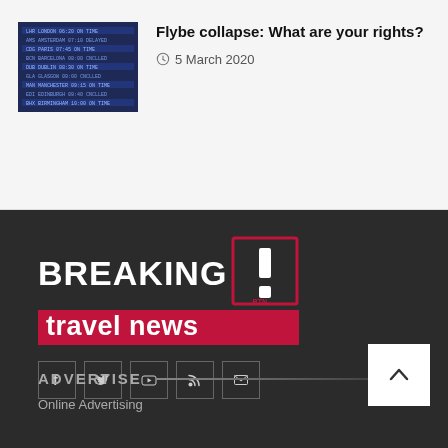[Figure (photo): Airport departure/arrival board showing flight information on a dark background with blue and white text]
Flybe collapse: What are your rights?
5 March 2020
[Figure (logo): Breaking Travel News logo - white uppercase BREAKING text with red travel news bar and bracket/exclamation mark graphic with BTN text]
Social media icons: Facebook, Twitter, YouTube, RSS, Email
ADVERTISE
Online Advertising